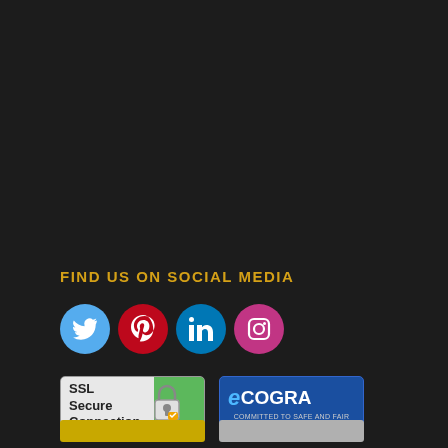FIND US ON SOCIAL MEDIA
[Figure (infographic): Social media icons: Twitter (blue circle), Pinterest (red circle), LinkedIn (blue circle), Instagram (red circle)]
[Figure (logo): SSL Secure Connection badge with padlock icon and green checkmark]
[Figure (logo): eCOGRA certification badge on blue background]